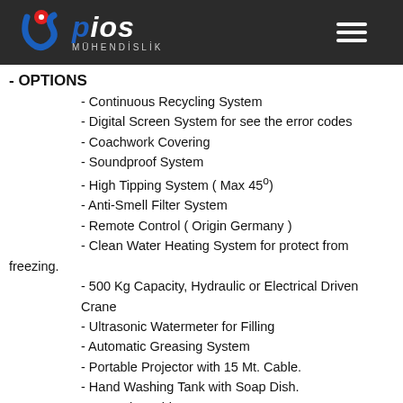[Figure (logo): Pios Mühendislik logo with red/blue stylized 'S' mark and white text 'pios' with 'MÜHENDİSLİK' subtitle on dark background, with hamburger menu icon]
- OPTIONS
- Continuous Recycling System
- Digital Screen System for see the error codes
- Coachwork Covering
- Soundproof System
- High Tipping System ( Max 45°)
- Anti-Smell Filter System
- Remote Control ( Origin Germany )
- Clean Water Heating System for protect from freezing.
- 500 Kg Capacity, Hydraulic or Electrical Driven Crane
- Ultrasonic Watermeter for Filling
- Automatic Greasing System
- Portable Projector with 15 Mt. Cable.
- Hand Washing Tank with Soap Dish.
- Internal Washing System